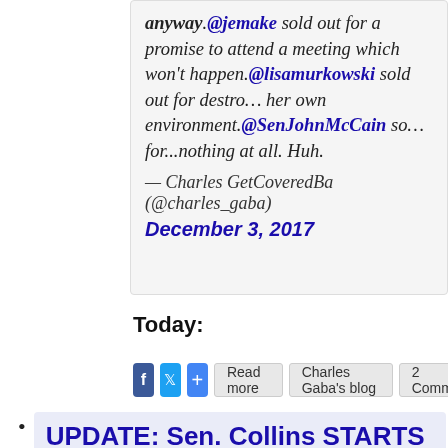anyway.@jemake sold out for a promise to attend a meeting which won't happen.@lisamurkowski sold out for destroying her own environment.@SenJohnMcCain sold out for...nothing at all. Huh.
— Charles GetCoveredBa (@charles_gaba)
December 3, 2017
Today:
[Figure (other): Social media sharing buttons: Facebook (blue), Twitter (blue), Share (blue plus icon), Read more, Charles Gaba's blog, 2 Comments]
UPDATE: Sen. Collins STARTS To Grok The Point Of The Individual Mandate...